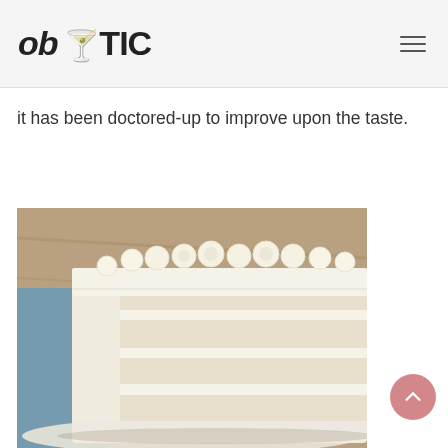ob🍸TIC
it has been doctored-up to improve upon the taste.
[Figure (photo): Close-up photo of a sliced white layer cake with white frosting and decorative rosettes on top, showing multiple cake layers inside, with a blue cloth visible in the background on a wooden surface.]